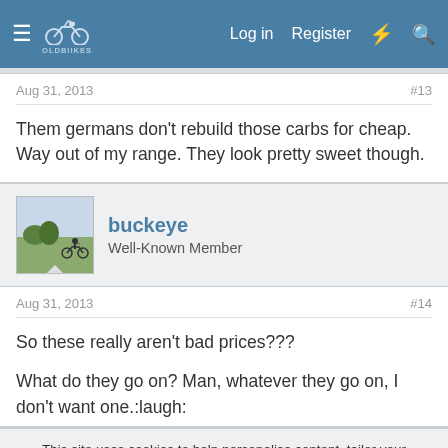OldBikes forum navigation: Log in, Register
Aug 31, 2013  #13
Them germans don't rebuild those carbs for cheap. Way out of my range. They look pretty sweet though.
buckeye — Well-Known Member
Aug 31, 2013  #14
So these really aren't bad prices???
What do they go on? Man, whatever they go on, I don't want one.:laugh:
This site uses cookies to help personalise content, tailor your experience and to keep you logged in if you register. By continuing to use this site, you are consenting to our use of cookies.